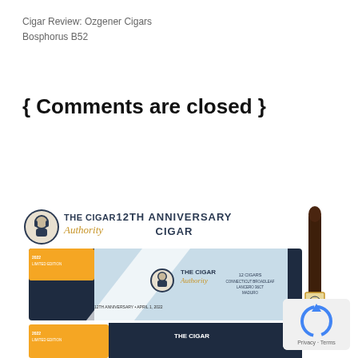Cigar Review: Ozgener Cigars
Bosphorus B52
{ Comments are closed }
[Figure (photo): The Cigar Authority 12th Anniversary Cigar advertisement showing logo, text '12TH ANNIVERSARY CIGAR', a cigar box with The Cigar Authority branding, and a single dark maduro lancero cigar standing upright. Bottom portion shows another box partially visible.]
[Figure (logo): reCAPTCHA privacy badge with blue circular arrow icon and Privacy - Terms text]